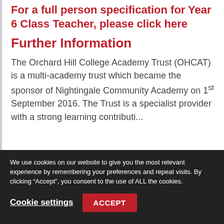For a full person specification for Year 6 Class Teacher, please click here
Further Information
The Orchard Hill College Academy Trust (OHCAT) is a multi-academy trust which became the sponsor of Nightingale Community Academy on 1st September 2016. The Trust is a specialist provider with a strong learning contribution...
We use cookies on our website to give you the most relevant experience by remembering your preferences and repeat visits. By clicking “Accept”, you consent to the use of ALL the cookies.
Cookie settings
ACCEPT